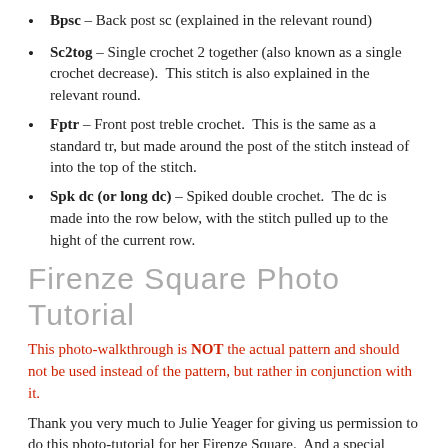Bpsc – Back post sc (explained in the relevant round)
Sc2tog – Single crochet 2 together (also known as a single crochet decrease). This stitch is also explained in the relevant round.
Fptr – Front post treble crochet. This is the same as a standard tr, but made around the post of the stitch instead of into the top of the stitch.
Spk dc (or long dc) – Spiked double crochet. The dc is made into the row below, with the stitch pulled up to the hight of the current row.
Firenze Square Photo Tutorial
This photo-walkthrough is NOT the actual pattern and should not be used instead of the pattern, but rather in conjunction with it.
Thank you very much to Julie Yeager for giving us permission to do this photo-tutorial for her Firenze Square. And a special thank you to Kimberly Slifer for letting me do the...